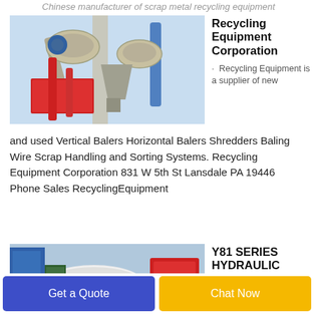Chinese manufacturer of scrap metal recycling equipment
[Figure (photo): Industrial recycling machinery with red and grey metal components, pipes, and sieves against a light blue background.]
Recycling Equipment Corporation
· Recycling Equipment is a supplier of new and used Vertical Balers Horizontal Balers Shredders Baling Wire Scrap Handling and Sorting Systems. Recycling Equipment Corporation 831 W 5th St Lansdale PA 19446 Phone Sales RecyclingEquipment
[Figure (photo): Industrial machinery, Y81 Series Hydraulic Scrap baler, blue and red metal equipment parts.]
Y81 SERIES HYDRAULIC SCRAP